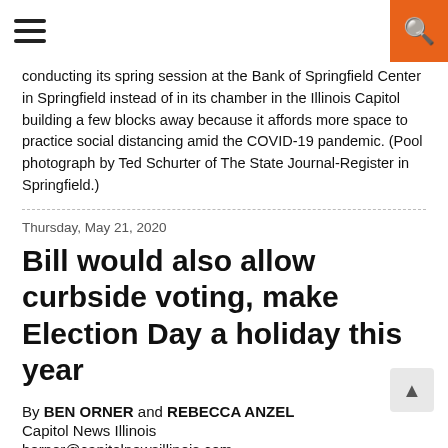[Navigation bar with hamburger menu and search button]
conducting its spring session at the Bank of Springfield Center in Springfield instead of in its chamber in the Illinois Capitol building a few blocks away because it affords more space to practice social distancing amid the COVID-19 pandemic. (Pool photograph by Ted Schurter of The State Journal-Register in Springfield.)
Thursday, May 21, 2020
Bill would also allow curbside voting, make Election Day a holiday this year
By BEN ORNER and REBECCA ANZEL
Capitol News Illinois
borner@capitolnewsillinois.com
ranzel@capitolnewsillinois.com
SPRINGFIELD — The Illinois House of Representatives